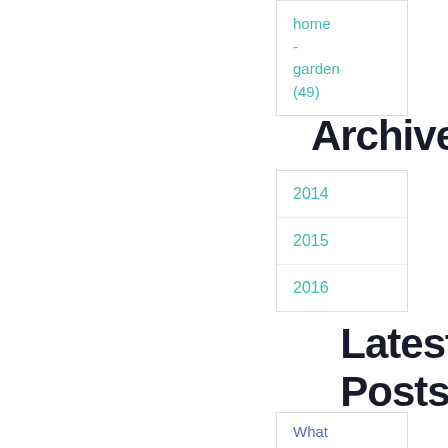home - garden (49)
Archives
2014
2015
2016
Latest Posts
What